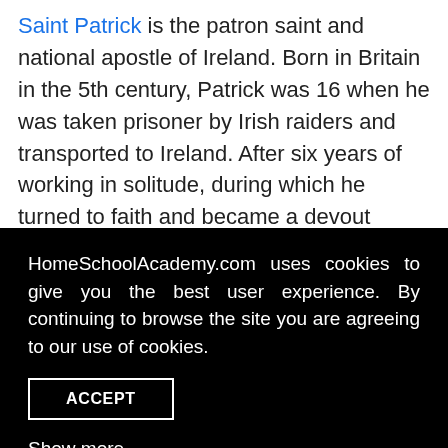Saint Patrick is the patron saint and national apostle of Ireland. Born in Britain in the 5th century, Patrick was 16 when he was taken prisoner by Irish raiders and transported to Ireland. After six years of working in solitude, during which he turned to faith and became a devout Christian, he was able to escape
HomeSchoolAcademy.com uses cookies to give you the best user experience. By continuing to browse the site you are agreeing to our use of cookies.
ACCEPT
Show more